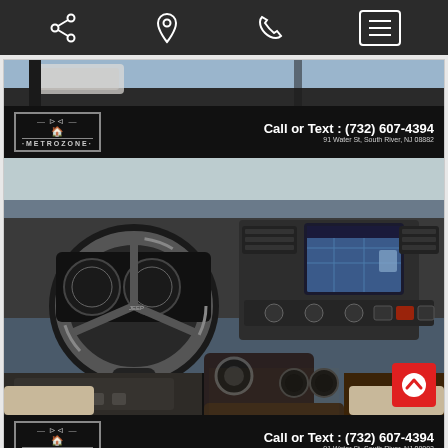[Figure (screenshot): Mobile app toolbar with share icon, location pin icon, phone icon, and hamburger menu button on dark background]
[Figure (photo): Car dealer banner showing MetroZone Auto logo and contact info: Call or Text: (732) 607-4394, 91 Water St, South River, NJ 08882]
[Figure (photo): Interior photo of a Jeep Grand Cherokee showing steering wheel, dashboard, infotainment screen with navigation, center console with gear shift and cup holders, and beige/tan leather seats]
[Figure (photo): Car dealer banner showing MetroZone Auto logo and contact info: Call or Text: (732) 607-4394, 91 Water St, South River, NJ 08882]